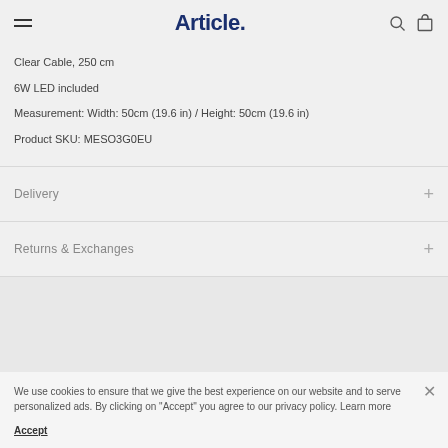Article.
Clear Cable, 250 cm
6W LED included
Measurement: Width: 50cm (19.6 in) / Height: 50cm (19.6 in)
Product SKU: MESO3G0EU
Delivery
Returns & Exchanges
We use cookies to ensure that we give the best experience on our website and to serve personalized ads. By clicking on "Accept" you agree to our privacy policy. Learn more
Accept